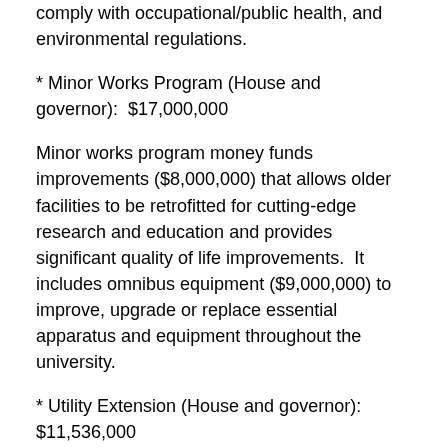comply with occupational/public health, and environmental regulations.
* Minor Works Program (House and governor):  $17,000,000
Minor works program money funds improvements ($8,000,000) that allows older facilities to be retrofitted for cutting-edge research and education and provides significant quality of life improvements.  It includes omnibus equipment ($9,000,000) to improve, upgrade or replace essential apparatus and equipment throughout the university.
* Utility Extension (House and governor): $11,536,000
The Pullman Campus is experiencing a critical